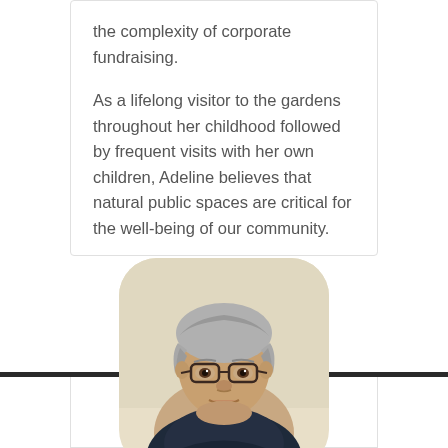the complexity of corporate fundraising.

As a lifelong visitor to the gardens throughout her childhood followed by frequent visits with her own children, Adeline believes that natural public spaces are critical for the well-being of our community.
[Figure (photo): Portrait photo of an older Asian woman with short gray hair, wearing glasses and a dark navy scarf/turtleneck, with a light beige background. The photo is displayed in a rounded rectangle frame.]